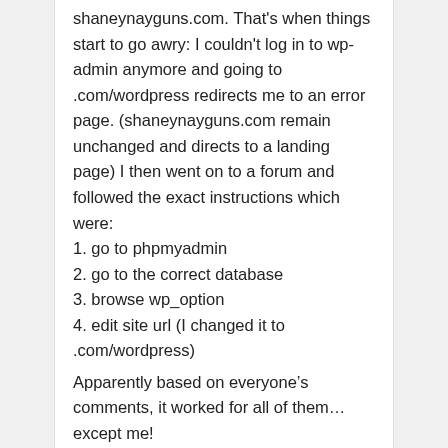shaneynayguns.com. That's when things start to go awry: I couldn't log in to wp-admin anymore and going to .com/wordpress redirects me to an error page. (shaneynayguns.com remain unchanged and directs to a landing page) I then went on to a forum and followed the exact instructions which were:
1. go to phpmyadmin
2. go to the correct database
3. browse wp_option
4. edit site url (I changed it to .com/wordpress)
Apparently based on everyone's comments, it worked for all of them… except me! shaneynayguns.com/wordpress now redirects to a page with “error establishing a